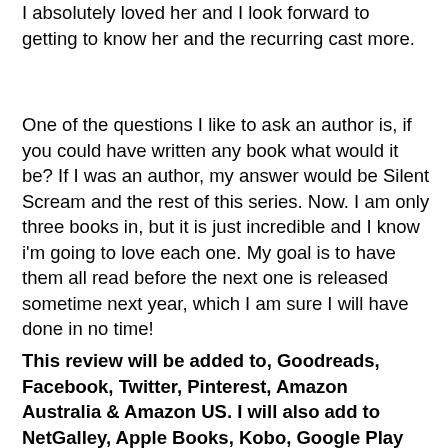I absolutely loved her and I look forward to getting to know her and the recurring cast more.
One of the questions I like to ask an author is, if you could have written any book what would it be? If I was an author, my answer would be Silent Scream and the rest of this series. Now. I am only three books in, but it is just incredible and I know i'm going to love each one. My goal is to have them all read before the next one is released sometime next year, which I am sure I will have done in no time!
This review will be added to, Goodreads, Facebook, Twitter, Pinterest, Amazon Australia & Amazon US. I will also add to NetGalley, Apple Books, Kobo, Google Play and Barnes & Noble if available. As I am from Australia, I am unable to add to Amazon UK, but will post to Waterstones & Foyles if also